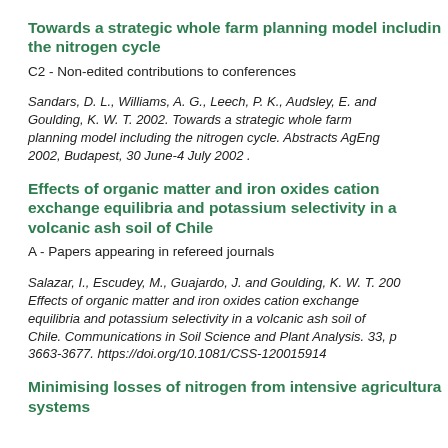Towards a strategic whole farm planning model including the nitrogen cycle
C2 - Non-edited contributions to conferences
Sandars, D. L., Williams, A. G., Leech, P. K., Audsley, E. and Goulding, K. W. T. 2002. Towards a strategic whole farm planning model including the nitrogen cycle. Abstracts AgEng 2002, Budapest, 30 June-4 July 2002 .
Effects of organic matter and iron oxides cation exchange equilibria and potassium selectivity in a volcanic ash soil of Chile
A - Papers appearing in refereed journals
Salazar, I., Escudey, M., Guajardo, J. and Goulding, K. W. T. 200. Effects of organic matter and iron oxides cation exchange equilibria and potassium selectivity in a volcanic ash soil of Chile. Communications in Soil Science and Plant Analysis. 33, p 3663-3677. https://doi.org/10.1081/CSS-120015914
Minimising losses of nitrogen from intensive agricultural systems